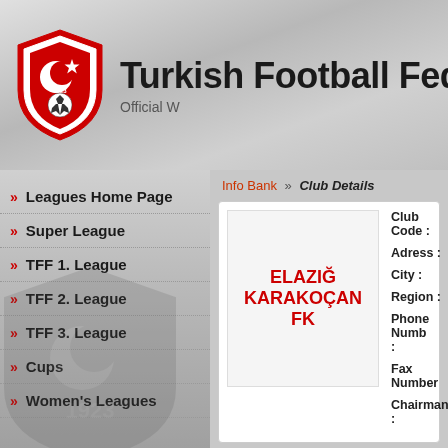Turkish Football Federation Official Website
Leagues Home Page
Super League
TFF 1. League
TFF 2. League
TFF 3. League
Cups
Women's Leagues
Info Bank » Club Details
ELAZIĞ KARAKOÇAN FK
Club Code : Adress : City : Region : Phone Number : Fax Number : Chairman :
Fixtures
Season: 2022-2023